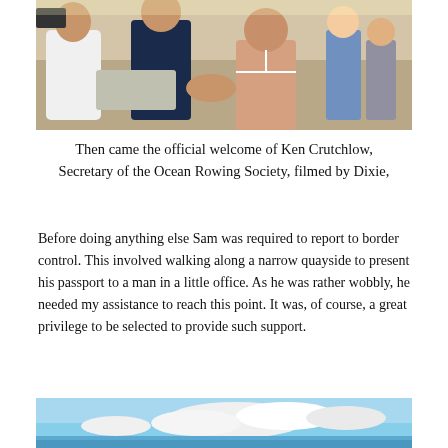[Figure (photo): Outdoor scene showing people shaking hands; a person in a navy polo shirt shakes hands with a woman in a white bikini top, others visible in background]
Then came the official welcome of Ken Crutchlow, Secretary of the Ocean Rowing Society, filmed by Dixie,
Before doing anything else Sam was required to report to border control. This involved walking along a narrow quayside to present his passport to a man in a little office. As he was rather wobbly, he needed my assistance to reach this point. It was, of course, a great privilege to be selected to provide such support.
[Figure (photo): Blue sky with white clouds over what appears to be an ocean or water scene]